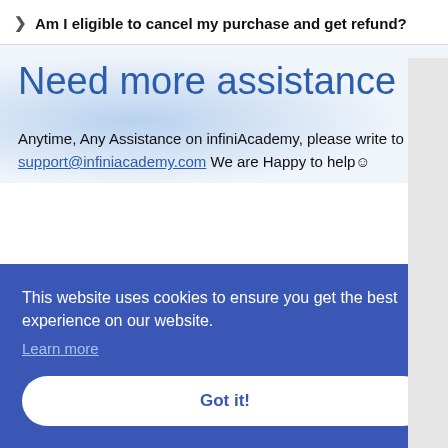Am I eligible to cancel my purchase and get refund?
Need more assistance ?
Anytime, Any Assistance on infiniAcademy, please write to support@infiniacademy.com We are Happy to help☺
This website uses cookies to ensure you get the best experience on our website.
Learn more
Got it!